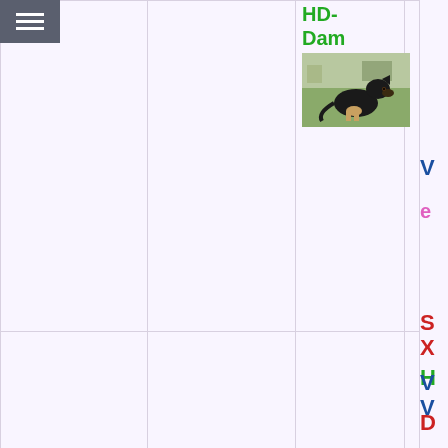[Figure (screenshot): Navigation hamburger menu icon on dark gray background, top-left corner]
[Figure (photo): German Shepherd dog sitting on grass outdoors, black and tan coloring]
HD-
Dam
V
H
D
S
X
V
V